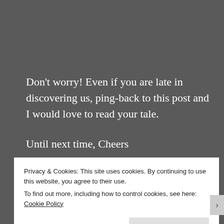Don't worry! Even if you are late in discovering us, ping-back to this post and I would love to read your tale.
Until next time, Cheers
Privacy & Cookies: This site uses cookies. By continuing to use this website, you agree to their use. To find out more, including how to control cookies, see here: Cookie Policy